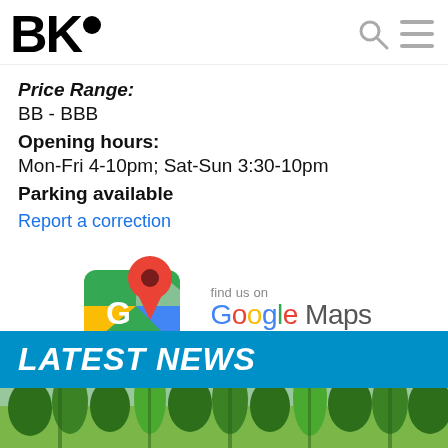BK•
Price Range:
BB - BBB
Opening hours:
Mon-Fri 4-10pm; Sat-Sun 3:30-10pm
Parking available
Report a correction
[Figure (logo): Find us on Google Maps logo with Google Maps icon (green/yellow/blue map with red pin) and text 'find us on Google Maps']
LATEST NEWS
[Figure (photo): Green trees/bamboo foliage photo at bottom of page]